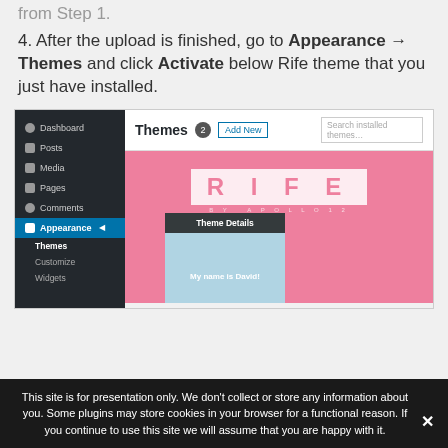from Step 1.
4. After the upload is finished, go to Appearance → Themes and click Activate below Rife theme that you just have installed.
[Figure (screenshot): WordPress admin screenshot showing the Themes page with the Rife theme card. Left sidebar shows Dashboard, Posts, Media, Pages, Comments, Appearance (active/highlighted), with sub-items Themes, Customize, Widgets. Main area shows 'Themes 2' header with Add New button and search box, and the Rife theme preview card with a pink background, RIFE logo, Theme Details overlay button, and 'My name is David!' text.]
This site is for presentation only. We don't collect or store any information about you. Some plugins may store cookies in your browser for a functional reason. If you continue to use this site we will assume that you are happy with it.